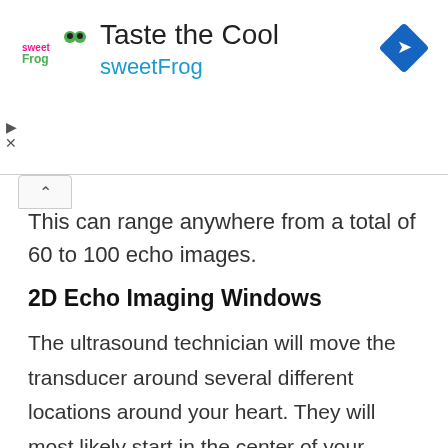[Figure (infographic): Advertisement banner for sweetFrog frozen yogurt. Shows sweetFrog logo on left, text 'Taste the Cool' in large font and 'sweetFrog' in teal/cyan below it, and a blue diamond navigation icon on the right.]
This can range anywhere from a total of 60 to 100 echo images.
2D Echo Imaging Windows
The ultrasound technician will move the transducer around several different locations around your heart. They will most likely start in the center of your chest then move down onto the left side of your chest.  For females, this will be the area underneath your left breast.  In order to reach this area while you are positioned on